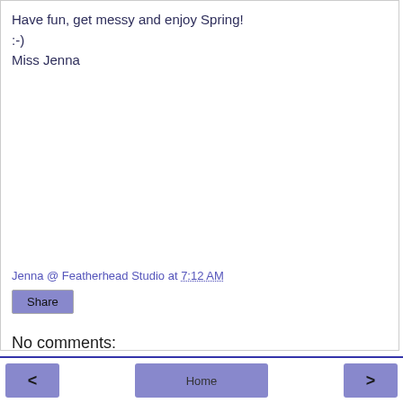Have fun, get messy and enjoy Spring!
:-)
Miss Jenna
Jenna @ Featherhead Studio at 7:12 AM
Share
No comments:
Post a Comment
< Home >